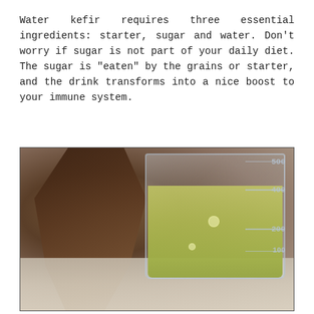Water kefir requires three essential ingredients: starter, sugar and water. Don't worry if sugar is not part of your daily diet. The sugar is "eaten" by the grains or starter, and the drink transforms into a nice boost to your immune system.
[Figure (photo): Close-up photo of a clear glass measuring beaker filled with yellow-green liquid (water kefir), showing measurement markings (100, 200, 400, 500 ml) on the right side. A dark dried fruit or leaf hangs in the background on the left. The beaker sits on a light granite or stone countertop surface.]